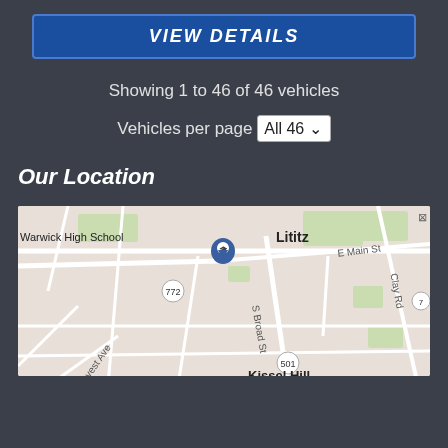[Figure (screenshot): Blue 'VIEW DETAILS' button with bold italic text on dark background]
Showing 1 to 46 of 46 vehicles
Vehicles per page  All 46
Our Location
[Figure (map): Google Maps view showing Lititz area with Warwick High School, route 772, S Broad St, E Main St, Clay Rd, route 501, and Kissel Hill labeled]